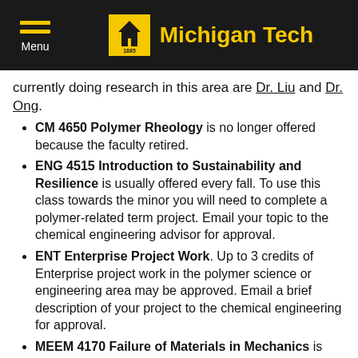Michigan Tech
currently doing research in this area are Dr. Liu and Dr. Ong.
CM 4650 Polymer Rheology is no longer offered because the faculty retired.
ENG 4515 Introduction to Sustainability and Resilience is usually offered every fall. To use this class towards the minor you will need to complete a polymer-related term project. Email your topic to the chemical engineering advisor for approval.
ENT Enterprise Project Work. Up to 3 credits of Enterprise project work in the polymer science or engineering area may be approved. Email a brief description of your project to the chemical engineering for approval.
MEEM 4170 Failure of Materials in Mechanics is usually offered every spring.
MEEM 4195 ...